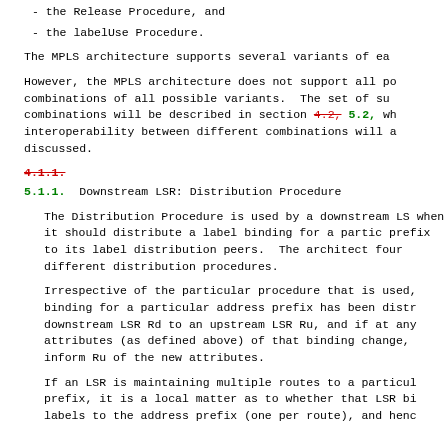- the Release Procedure, and
- the labelUse Procedure.
The MPLS architecture supports several variants of ea
However, the MPLS architecture does not support all combinations of all possible variants. The set of su combinations will be described in section 4.2, 5.2, wh interoperability between different combinations will discussed.
4.1.1.
5.1.1. Downstream LSR: Distribution Procedure
The Distribution Procedure is used by a downstream LS when it should distribute a label binding for a part prefix to its label distribution peers. The archite four different distribution procedures.
Irrespective of the particular procedure that is used, binding for a particular address prefix has been dist downstream LSR Rd to an upstream LSR Ru, and if at an attributes (as defined above) of that binding change, inform Ru of the new attributes.
If an LSR is maintaining multiple routes to a particu prefix, it is a local matter as to whether that LSR b labels to the address prefix (one per route), and henc